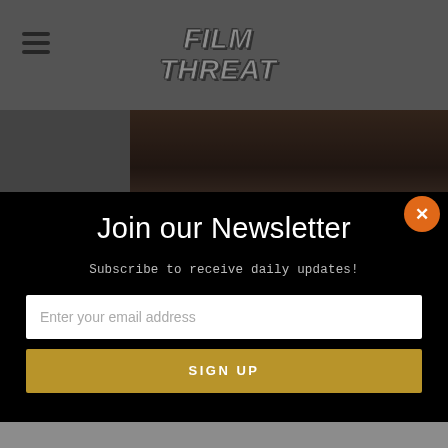Film Threat
[Figure (screenshot): Film Threat website with newsletter signup modal overlay. Background shows a movie-related image with 'Umar Mughal' text. Modal is black with white text.]
Join our Newsletter
Subscribe to receive daily updates!
Enter your email address
SIGN UP
Umar Mughal